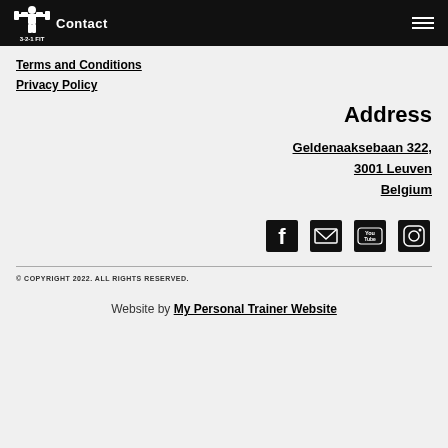Contact | 3-2-1 FIT
Terms and Conditions
Privacy Policy
Address
Geldenaaksebaan 322, 3001 Leuven Belgium
[Figure (other): Social media icons: Facebook, Email, YouTube, Instagram]
© COPYRIGHT 2022. ALL RIGHTS RESERVED.
Website by My Personal Trainer Website